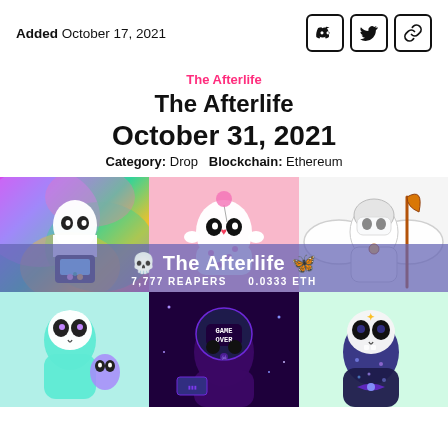Added October 17, 2021
The Afterlife
The Afterlife
October 31, 2021
Category: Drop   Blockchain: Ethereum
[Figure (illustration): A 2x3 grid of cartoon reaper/ghost NFT illustrations for 'The Afterlife' collection. Top row: left - reaper playing arcade game on rainbow background; middle - cute pink reaper floating with balloons; right - angel/grim reaper sketch in white/grey. An overlay band across the middle reads 'The Afterlife 7,777 REAPERS 0.0333 ETH'. Bottom row: left - teal hooded reaper holding small creature; middle - dark reaper with 'GAME OVER' on purple/dark background; right - galaxy-patterned reaper on light green.]